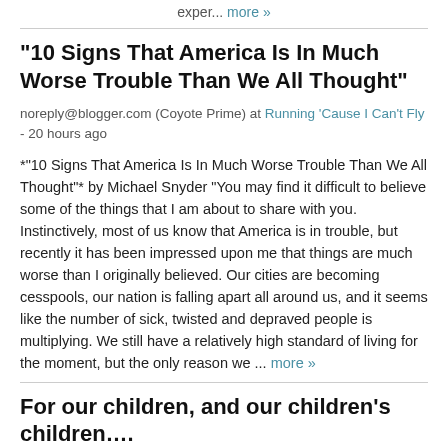exper... more »
"10 Signs That America Is In Much Worse Trouble Than We All Thought"
noreply@blogger.com (Coyote Prime) at Running 'Cause I Can't Fly - 20 hours ago
*"10 Signs That America Is In Much Worse Trouble Than We All Thought"* by Michael Snyder "You may find it difficult to believe some of the things that I am about to share with you. Instinctively, most of us know that America is in trouble, but recently it has been impressed upon me that things are much worse than I originally believed. Our cities are becoming cesspools, our nation is falling apart all around us, and it seems like the number of sick, twisted and depraved people is multiplying. We still have a relatively high standard of living for the moment, but the only reason we ... more »
For our children, and our children's children….
Irish Savant at The Truthseeker - 20 hours ago
As a mentor once remarked, "there is no such thing as coincidence". Irish Savant identifies a point, in itself unremarkable but when seen in common among our leaders, is significant